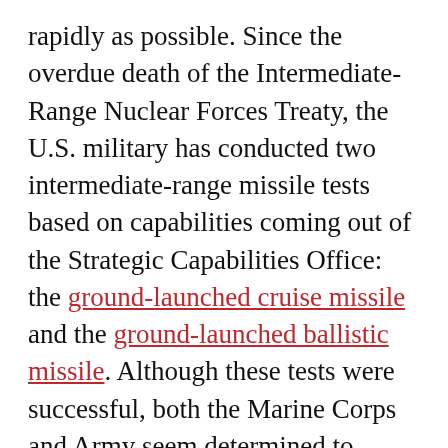rapidly as possible. Since the overdue death of the Intermediate-Range Nuclear Forces Treaty, the U.S. military has conducted two intermediate-range missile tests based on capabilities coming out of the Strategic Capabilities Office: the ground-launched cruise missile and the ground-launched ballistic missile. Although these tests were successful, both the Marine Corps and Army seem determined to develop service-native capabilities. I cannot overstate the foolishness of such a decision. The Strategic Capabilities Office has done great work to get the capabilities to the test range. The